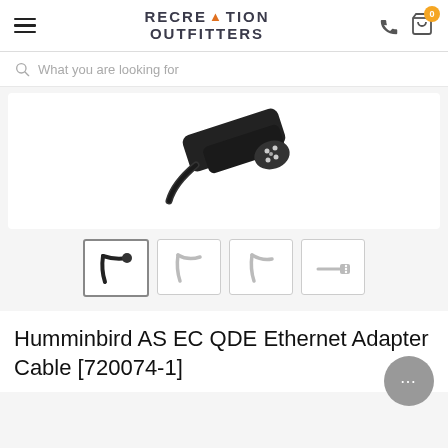Recreation Outfitters
What you are looking for
[Figure (photo): Product photo showing a black Humminbird Ethernet adapter cable connector end, close-up view against white background]
[Figure (photo): Four thumbnail images of the Humminbird AS EC QDE Ethernet Adapter Cable from different angles: black cable end, light-colored cable curve (x2), and cable with connector]
Humminbird AS EC QDE Ethernet Adapter Cable [720074-1]